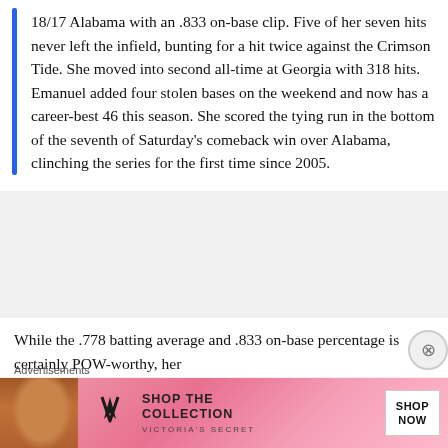18/17 Alabama with an .833 on-base clip. Five of her seven hits never left the infield, bunting for a hit twice against the Crimson Tide. She moved into second all-time at Georgia with 318 hits. Emanuel added four stolen bases on the weekend and now has a career-best 46 this season. She scored the tying run in the bottom of the seventh of Saturday's comeback win over Alabama, clinching the series for the first time since 2005.
While the .778 batting average and .833 on-base percentage is certainly POW-worthy, her offensive output did little in the name of leading...
Advertisements
[Figure (photo): Victoria's Secret advertisement banner with model photo, VS logo, 'SHOP THE COLLECTION' text, and 'SHOP NOW' button on pink background]